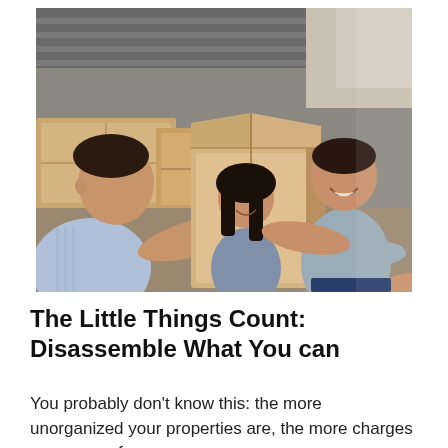[Figure (photo): A family unloading moving boxes from a moving truck. A man on the left passes a large cardboard box to a young boy on the right who is smiling. A young girl in the middle watches and smiles. Another person's hands are visible helping hold the box.]
The Little Things Count: Disassemble What You can
You probably don't know this: the more unorganized your properties are, the more charges you accrue from